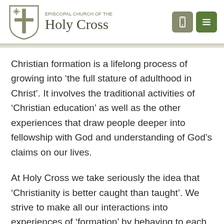Episcopal Church of the Holy Cross
Christian formation is a lifelong process of growing into ‘the full stature of adulthood in Christ’. It involves the traditional activities of ‘Christian education’ as well as the other experiences that draw people deeper into fellowship with God and understanding of God’s claims on our lives.
At Holy Cross we take seriously the idea that ‘Christianity is better caught than taught’. We strive to make all our interactions into experiences of ‘formation’ by behaving to each other in accord with...